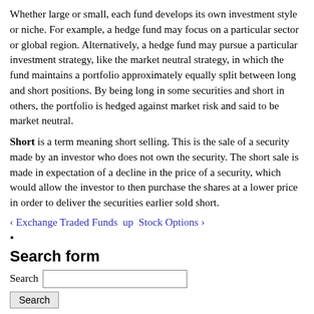Whether large or small, each fund develops its own investment style or niche. For example, a hedge fund may focus on a particular sector or global region. Alternatively, a hedge fund may pursue a particular investment strategy, like the market neutral strategy, in which the fund maintains a portfolio approximately equally split between long and short positions. By being long in some securities and short in others, the portfolio is hedged against market risk and said to be market neutral.
Short is a term meaning short selling. This is the sale of a security made by an investor who does not own the security. The short sale is made in expectation of a decline in the price of a security, which would allow the investor to then purchase the shares at a lower price in order to deliver the securities earlier sold short.
‹ Exchange Traded Funds  up  Stock Options ›
Search form
Search [text input] Search [button]